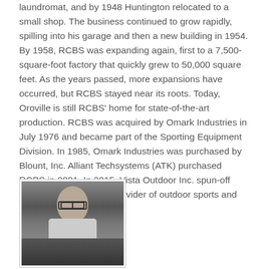laundromat, and by 1948 Huntington relocated to a small shop. The business continued to grow rapidly, spilling into his garage and then a new building in 1954. By 1958, RCBS was expanding again, first to a 7,500-square-foot factory that quickly grew to 50,000 square feet. As the years passed, more expansions have occurred, but RCBS stayed near its roots. Today, Oroville is still RCBS' home for state-of-the-art production. RCBS was acquired by Omark Industries in July 1976 and became part of the Sporting Equipment Division. In 1985, Omark Industries was purchased by Blount, Inc. Alliant Techsystems (ATK) purchased RCBS in 2001. In 2015, Vista Outdoor Inc. spun-off from ATK as a leading provider of outdoor sports and recreation products.
[Figure (photo): Black and white photograph of a man wearing glasses and a light-colored jacket or shirt with a circular patch/emblem on it, seated near equipment.]